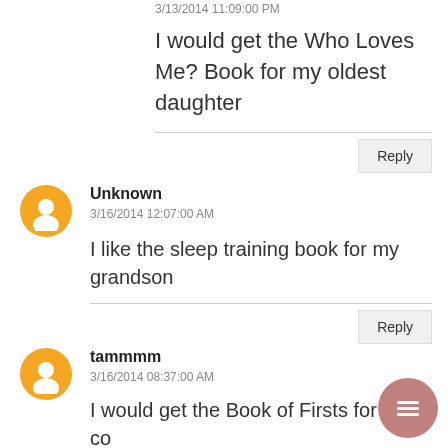3/13/2014 11:09:00 PM
I would get the Who Loves Me? Book for my oldest daughter
Reply
Unknown
3/16/2014 12:07:00 AM
I like the sleep training book for my grandson
Reply
tammmm
3/16/2014 08:37:00 AM
I would get the Book of Firsts for my co... baby.